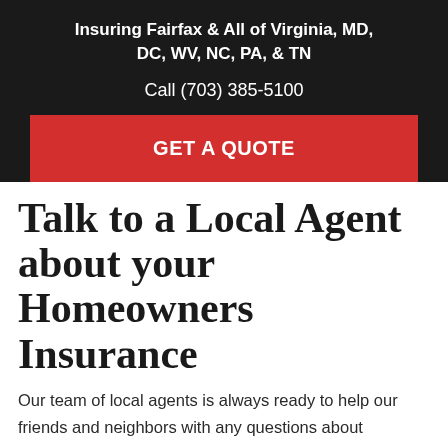Insuring Fairfax & All of Virginia, MD, DC, WV, NC, PA, & TN
Call (703) 385-5100
GET A QUOTE
Talk to a Local Agent about your Homeowners Insurance
Our team of local agents is always ready to help our friends and neighbors with any questions about homeowner policy coverage associated with the possibility of animal damage. Whether you own an unusual pet or there are wild animals who like to visit